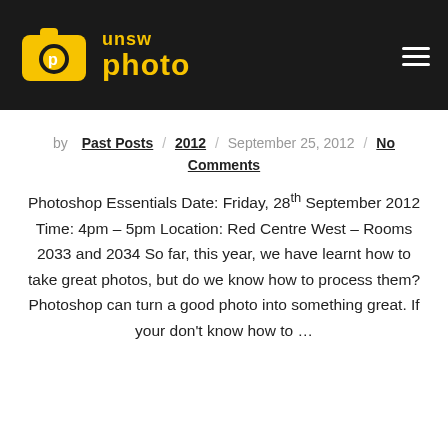[Figure (logo): UNSW Photo club logo: yellow camera icon with white 'p' and text 'unsw photo' in yellow on black background]
by Past Posts / 2012 / September 25, 2012 / No Comments
Photoshop Essentials Date: Friday, 28th September 2012 Time: 4pm – 5pm Location: Red Centre West – Rooms 2033 and 2034 So far, this year, we have learnt how to take great photos, but do we know how to process them? Photoshop can turn a good photo into something great. If your don't know how to ...